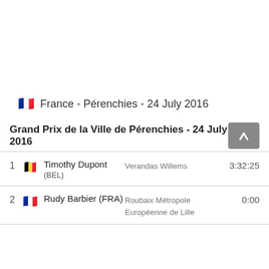🇫🇷 France - Pérenchies - 24 July 2016
Grand Prix de la Ville de Pérenchies - 24 July 2016
| Pos | Rider | Team | Time |
| --- | --- | --- | --- |
| 1 | Timothy Dupont (BEL) | Verandas Willems | 3:32:25 |
| 2 | Rudy Barbier (FRA) | Roubaix Métropole Européenne de Lille | 0:00 |